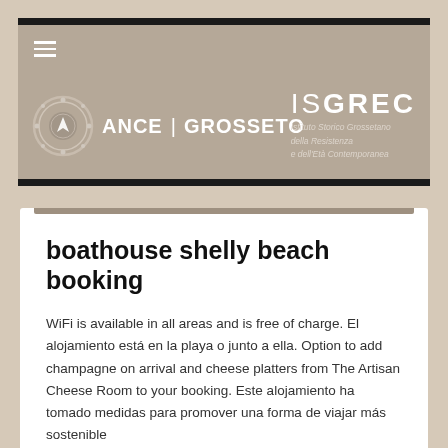[Figure (logo): ANCE Grosseto and ISGREC (Istituto Storico Grossetano della Resistenza e dell'Età Contemporanea) header banner with logos, menu icon, and institutional names on a tan/beige background with black top and bottom borders.]
boathouse shelly beach booking
WiFi is available in all areas and is free of charge. El alojamiento está en la playa o junto a ella. Option to add champagne on arrival and cheese platters from The Artisan Cheese Room to your booking. Este alojamiento ha tomado medidas para promover una forma de viajar más sostenible